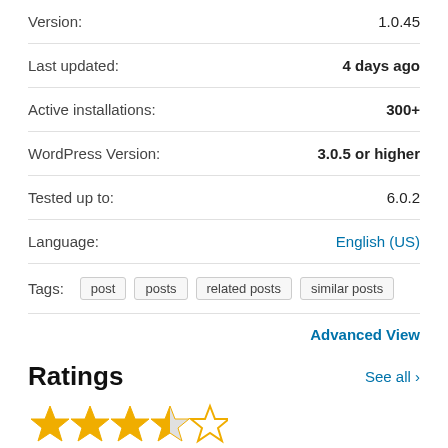| Field | Value |
| --- | --- |
| Version: | 1.0.45 |
| Last updated: | 4 days ago |
| Active installations: | 300+ |
| WordPress Version: | 3.0.5 or higher |
| Tested up to: | 6.0.2 |
| Language: | English (US) |
| Tags: | post  posts  related posts  similar posts |
Advanced View
Ratings
See all
[Figure (other): 3.5 out of 5 stars rating (3 filled stars, 1 half star, 1 empty star)]
[Figure (bar-chart): Ratings distribution]